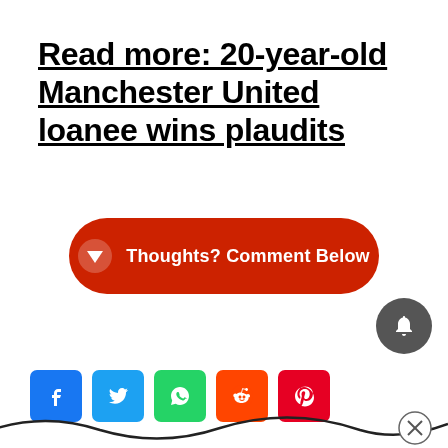Read more: 20-year-old Manchester United loanee wins plaudits
[Figure (infographic): Red rounded button with downward arrow icon and text 'Thoughts? Comment Below']
[Figure (infographic): Social media share icons: Facebook (blue), Twitter (light blue), WhatsApp (green), Reddit (orange-red), Pinterest (red)]
[Figure (infographic): Dark grey circular notification bell button in bottom right area]
[Figure (illustration): Decorative wavy/squiggly line along the bottom of the page with a close (X) button on the right]